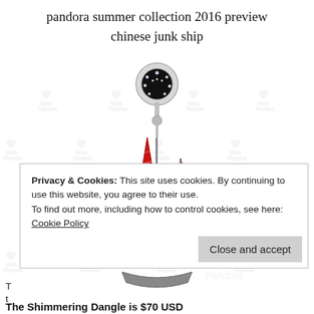pandora summer collection 2016 preview
chinese junk ship
[Figure (photo): A Pandora charm in silver with red enamel Chinese junk ship sails dangling from a crystal-encrusted circular bail, with 'Mora Pandora' watermark repeated in background.]
Privacy & Cookies: This site uses cookies. By continuing to use this website, you agree to their use.
To find out more, including how to control cookies, see here: Cookie Policy
Close and accept
The Shimmering Dangle is $70 USD